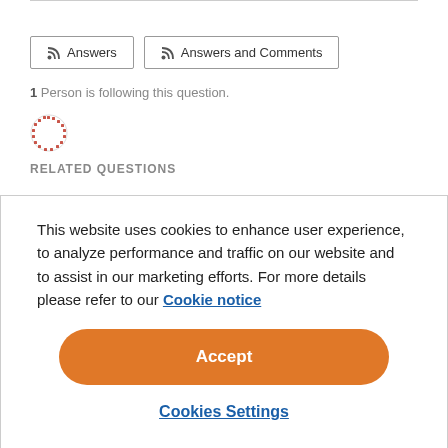Answers
Answers and Comments
1 Person is following this question.
[Figure (illustration): Small circular avatar icon with dotted/pixelated reddish-orange pattern]
RELATED QUESTIONS
This website uses cookies to enhance user experience, to analyze performance and traffic on our website and to assist in our marketing efforts. For more details please refer to our Cookie notice
Accept
Cookies Settings